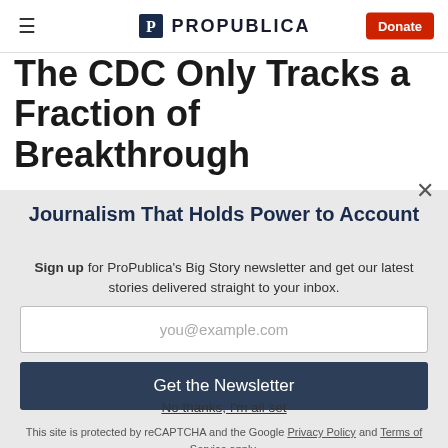ProPublica — Donate
The CDC Only Tracks a Fraction of Breakthrough
Journalism That Holds Power to Account
Sign up for ProPublica's Big Story newsletter and get our latest stories delivered straight to your inbox.
you@example.com
Get the Newsletter
No thanks, I'm all set
This site is protected by reCAPTCHA and the Google Privacy Policy and Terms of Service apply.